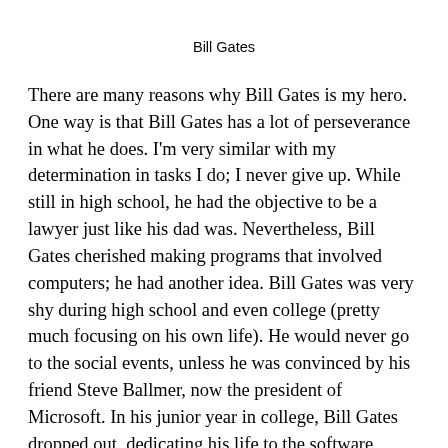Bill Gates
There are many reasons why Bill Gates is my hero. One way is that Bill Gates has a lot of perseverance in what he does. I'm very similar with my determination in tasks I do; I never give up. While still in high school, he had the objective to be a lawyer just like his dad was. Nevertheless, Bill Gates cherished making programs that involved computers; he had another idea. Bill Gates was very shy during high school and even college (pretty much focusing on his own life). He would never go to the social events, unless he was convinced by his friend Steve Ballmer, now the president of Microsoft. In his junior year in college, Bill Gates dropped out, dedicating his life to the software industry. In the late 1980s, Bill Gates and his other companion, Paul Allen, were making programs like Microsoft Word and Excel. It was officially announced, in 1986, that Bill Gates had